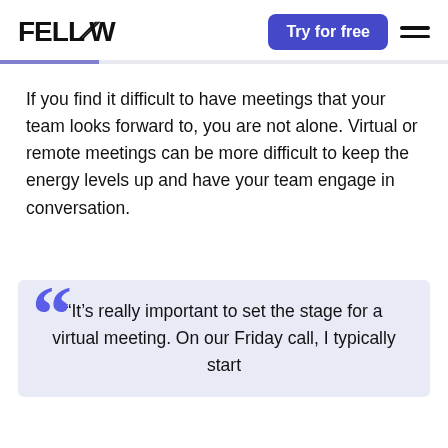FELLOW   Try for free
If you find it difficult to have meetings that your team looks forward to, you are not alone. Virtual or remote meetings can be more difficult to keep the energy levels up and have your team engage in conversation.
“It’s really important to set the stage for a virtual meeting. On our Friday call, I typically start